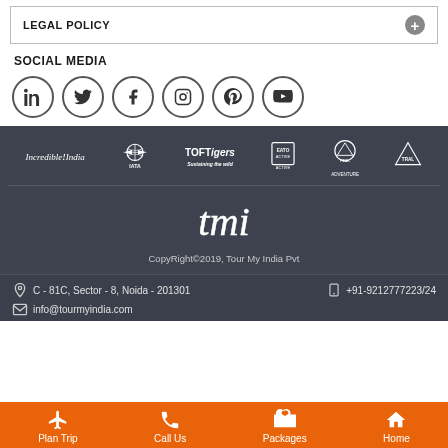LEGAL POLICY
SOCIAL MEDIA
[Figure (logo): Social media icons: LinkedIn, Twitter, Facebook, Instagram, Pinterest, YouTube]
[Figure (logo): Partner logos: Incredible India, IATA, TOFTigers, EATO Active, Peak Adventure, TRAL]
[Figure (logo): Tour My India (TMI) cursive logo]
CopyRight©2019, Tour My India Pvt
C - 81C, Sector - 8, Noida - 201301   +91-9212777223/24
info@tourmyindia.com
Plan Trip   Call Us   Packages   Home